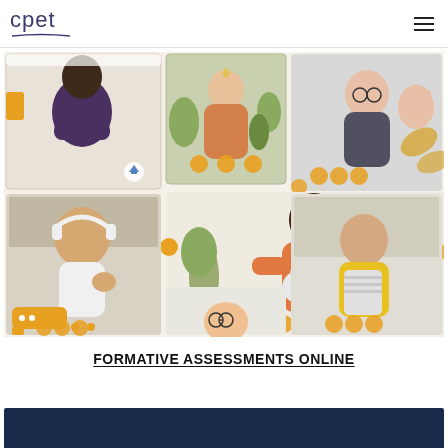[Figure (logo): CPET logo with text 'cpet' in dark blue and decorative arc underline]
[Figure (illustration): Colorful illustration of multiple people on video calls, shown in a grid of video chat panels with a woman holding a cat in the center, various participants with headphones and devices, in warm tones of orange, purple, and gold]
FORMATIVE ASSESSMENTS ONLINE
[Figure (photo): Partial dark blue banner/image at the bottom of the page]